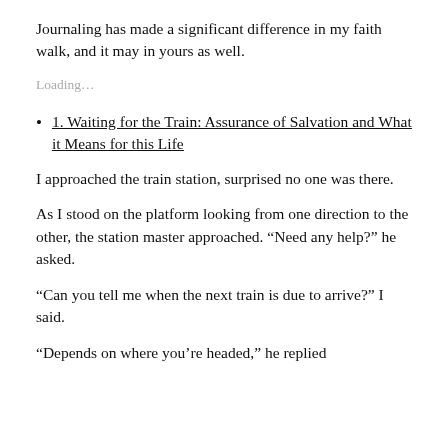Journaling has made a significant difference in my faith walk, and it may in yours as well.
Loading...
1. Waiting for the Train: Assurance of Salvation and What it Means for this Life
I approached the train station, surprised no one was there.
As I stood on the platform looking from one direction to the other, the station master approached. “Need any help?” he asked.
“Can you tell me when the next train is due to arrive?” I said.
“Depends on where you’re headed,” he replied